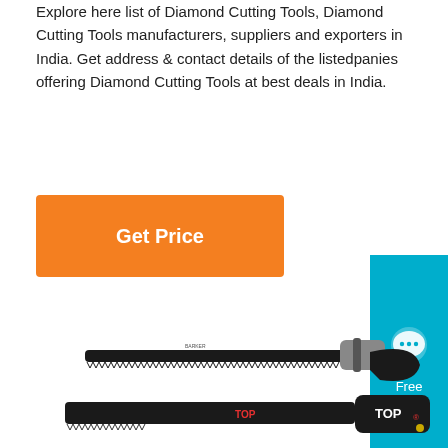Explore here list of Diamond Cutting Tools, Diamond Cutting Tools manufacturers, suppliers and exporters in India. Get address & contact details of the listedpanies offering Diamond Cutting Tools at best deals in India.
[Figure (screenshot): Orange 'Get Price' button]
[Figure (screenshot): Blue 'Free Chat' widget on right side]
[Figure (photo): Photo of a folding pruning saw (Barker brand) with black blade and ergonomic handle]
[Figure (photo): Photo of a folding saw with 'TOP' branding on the handle and black casing]